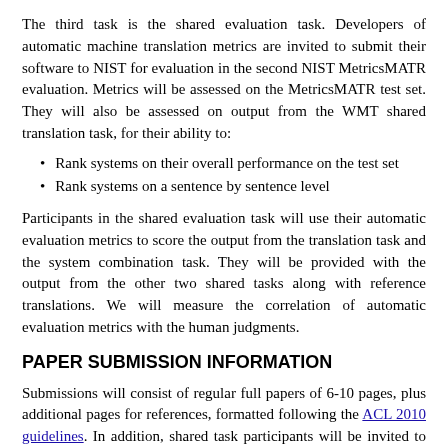The third task is the shared evaluation task. Developers of automatic machine translation metrics are invited to submit their software to NIST for evaluation in the second NIST MetricsMATR evaluation. Metrics will be assessed on the MetricsMATR test set. They will also be assessed on output from the WMT shared translation task, for their ability to:
Rank systems on their overall performance on the test set
Rank systems on a sentence by sentence level
Participants in the shared evaluation task will use their automatic evaluation metrics to score the output from the translation task and the system combination task. They will be provided with the output from the other two shared tasks along with reference translations. We will measure the correlation of automatic evaluation metrics with the human judgments.
PAPER SUBMISSION INFORMATION
Submissions will consist of regular full papers of 6-10 pages, plus additional pages for references, formatted following the ACL 2010 guidelines. In addition, shared task participants will be invited to submit short papers (4-6 pages) describing their systems or their evaluation metrics. Both submission and review processes will be handled electronically.